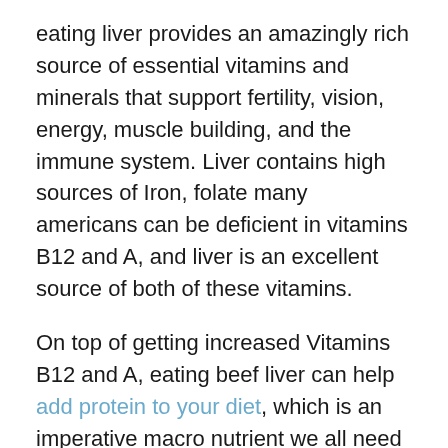eating liver provides an amazingly rich source of essential vitamins and minerals that support fertility, vision, energy, muscle building, and the immune system. Liver contains high sources of Iron, folate many americans can be deficient in vitamins B12 and A, and liver is an excellent source of both of these vitamins.
On top of getting increased Vitamins B12 and A, eating beef liver can help add protein to your diet, which is an imperative macro nutrient we all need to maintain muscle and bone mass, recover from exercise and boost your immune system. Sounds like a great bang for your buck if you ask me!
Fortunately for you, Other practitioners have